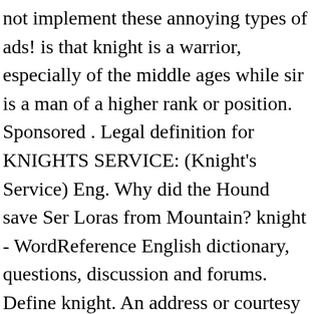not implement these annoying types of ads! is that knight is a warrior, especially of the middle ages while sir is a man of a higher rank or position. Sponsored . Legal definition for KNIGHTS SERVICE: (Knight's Service) Eng. Why did the Hound save Ser Loras from Mountain? knight - WordReference English dictionary, questions, discussion and forums. Define knight. An address or courtesy title to any person, especially if their gender and/or form of address are unknown. Synonyms for knight include cavalier, champion, chevalier, equestrian, gallant, horseman, banneret